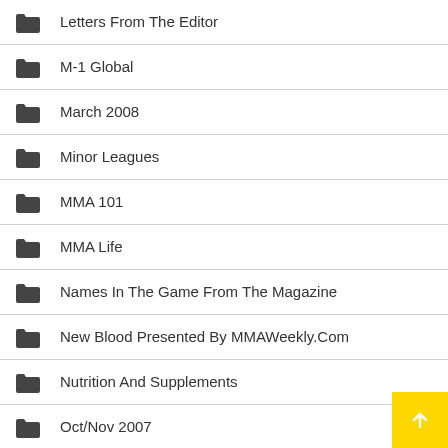Letters From The Editor
M-1 Global
March 2008
Minor Leagues
MMA 101
MMA Life
Names In The Game From The Magazine
New Blood Presented By MMAWeekly.Com
Nutrition And Supplements
Oct/Nov 2007
Photo Gallery
Quick Hits
Strikeforce